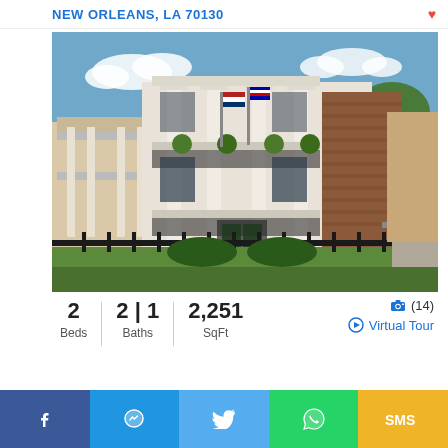NEW ORLEANS, LA 70130
[Figure (photo): Exterior photo of a two-story New Orleans Greek Revival style home with large white columns, wrap-around balconies with wrought iron railings, hanging plants, American and Louisiana flags, brick facade on right side, iron fence in front, surrounded by mature trees.]
2 Beds  |  2 | 1 Baths  |  2,251 SqFt
(14)  Virtual Tour
f  [messenger]  [twitter]  [whatsapp]  SMS